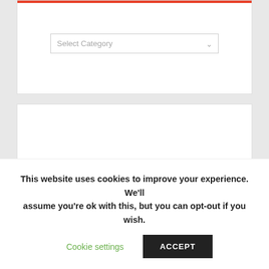[Figure (screenshot): Dropdown widget with 'Select Category' placeholder and red top bar]
[Figure (screenshot): Empty white widget box]
Recent Posts
Why does IndyCar elect to bastardize a 12-year-old car instead of designing a proper one? (4th Update)
August 30, 2022
This website uses cookies to improve your experience. We'll assume you're ok with this, but you can opt-out if you wish.
Cookie settings
ACCEPT